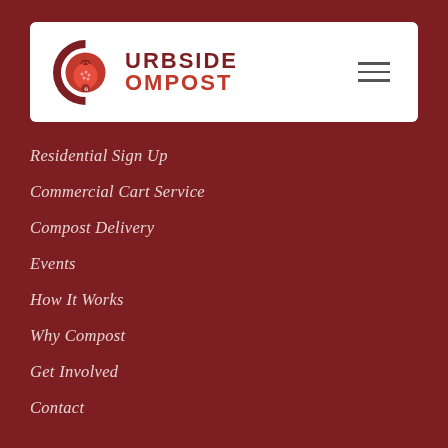[Figure (logo): Curbside Compost logo with pomegranate icon in a circular C shape, white background header bar with hamburger menu icon]
Residential Sign Up
Commercial Cart Service
Compost Delivery
Events
How It Works
Why Compost
Get Involved
Contact